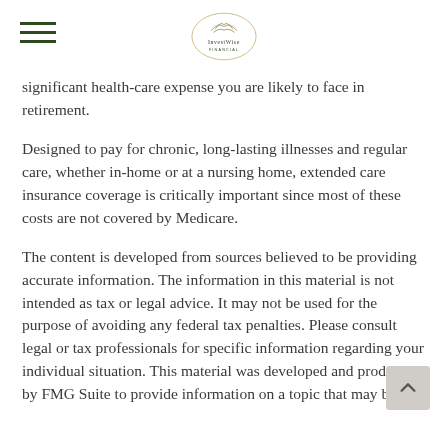InvestWise Financial (logo)
significant health-care expense you are likely to face in retirement.
Designed to pay for chronic, long-lasting illnesses and regular care, whether in-home or at a nursing home, extended care insurance coverage is critically important since most of these costs are not covered by Medicare.
The content is developed from sources believed to be providing accurate information. The information in this material is not intended as tax or legal advice. It may not be used for the purpose of avoiding any federal tax penalties. Please consult legal or tax professionals for specific information regarding your individual situation. This material was developed and produced by FMG Suite to provide information on a topic that may be of